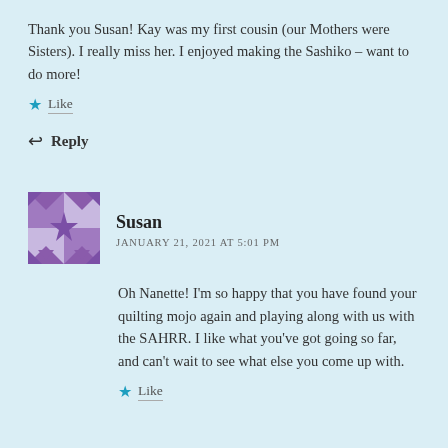Thank you Susan! Kay was my first cousin (our Mothers were Sisters). I really miss her. I enjoyed making the Sashiko – want to do more!
Like
Reply
Susan
JANUARY 21, 2021 AT 5:01 PM
Oh Nanette! I'm so happy that you have found your quilting mojo again and playing along with us with the SAHRR. I like what you've got going so far, and can't wait to see what else you come up with.
Like